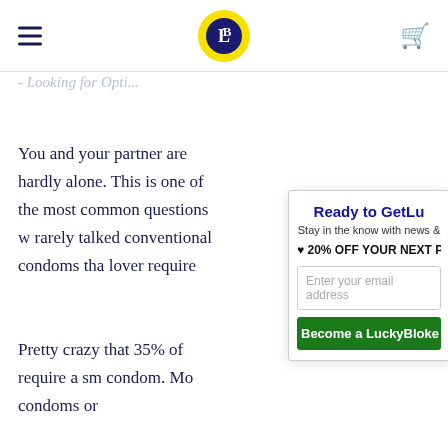LuckyBloke logo and navigation
- Looking for Opti...
You and your partner are hardly alone. This is one of the most common questions w rarely talked conventional condoms tha lover require
Pretty crazy that 35% of require a sm condom. Mo condoms or
[Figure (screenshot): Email signup popup overlay: 'Ready to GetLu' headline, 'Stay in the know with news &' subtitle, '♥ 20% OFF YOUR NEXT PU' offer, email input field, 'Become a LuckyBloke' green button]